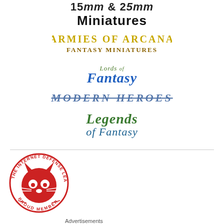[Figure (logo): 15mm & 25mm Miniatures logo text at top, partially cut off]
[Figure (logo): Armies of Arcana - Fantasy Miniatures logo in gold/yellow stylized text]
[Figure (logo): Lords of Fantasy logo in green medieval lettering]
[Figure (logo): Modern Heroes logo in stylized blue/silver lettering]
[Figure (logo): Legends of Fantasy logo in green ornate lettering]
[Figure (logo): The Internet Defense League - Proud Member badge with red cat mascot]
Advertisements
[Figure (photo): MAC cosmetics advertisement showing lipsticks with SHOP NOW button]